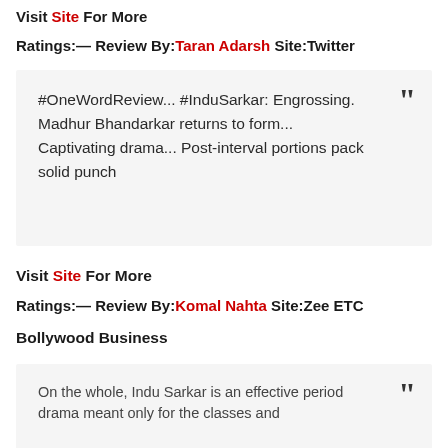Visit Site For More
Ratings:— Review By:Taran Adarsh Site:Twitter
#OneWordReview... #InduSarkar: Engrossing. Madhur Bhandarkar returns to form... Captivating drama... Post-interval portions pack solid punch
Visit Site For More
Ratings:— Review By:Komal Nahta Site:Zee ETC
Bollywood Business
On the whole, Indu Sarkar is an effective period drama meant only for the classes and